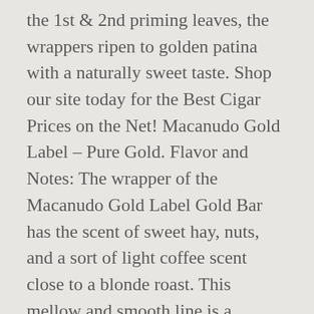Premium Cigars August 10, 2020. Using only the 1st & 2nd priming leaves, the wrappers ripen to golden patina with a naturally sweet taste. Shop our site today for the Best Cigar Prices on the Net! Macanudo Gold Label – Pure Gold. Flavor and Notes: The wrapper of the Macanudo Gold Label Gold Bar has the scent of sweet hay, nuts, and a sort of light coffee scent close to a blonde roast. This mellow and smooth line is a welcome addition to one of the best selling premium cigar brands in our country. ratings articles. Macanudo Gold is arguably the finest mellow blend they make. Macanudo Gold Label. Yet, when smoking the Macanudo Gold Label Gold Bar, you can still expect the same consistent, mild, smooth,